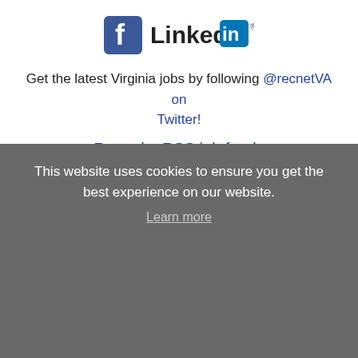[Figure (logo): Facebook and LinkedIn social media icons side by side]
Get the latest Virginia jobs by following @recnetVA on Twitter!
Roanoke RSS job feeds
This website uses cookies to ensure you get the best experience on our website.
Learn more
JOB SEEKERS
Search Roanoke jobs
Got it!
Post your resume
Email job alerts
Register / Log in